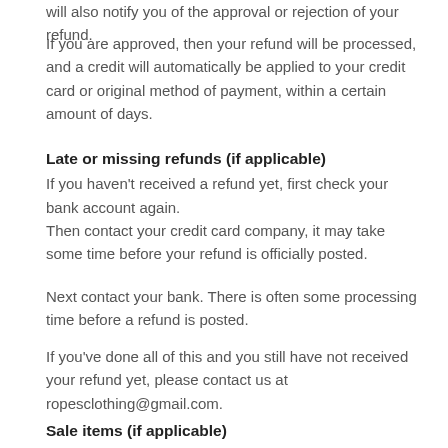will also notify you of the approval or rejection of your refund.
If you are approved, then your refund will be processed, and a credit will automatically be applied to your credit card or original method of payment, within a certain amount of days.
Late or missing refunds (if applicable)
If you haven't received a refund yet, first check your bank account again.
Then contact your credit card company, it may take some time before your refund is officially posted.
Next contact your bank. There is often some processing time before a refund is posted.
If you've done all of this and you still have not received your refund yet, please contact us at ropesclothing@gmail.com.
Sale items (if applicable)
Only regular priced items may be refunded, unfortunately sale items cannot be refunded.